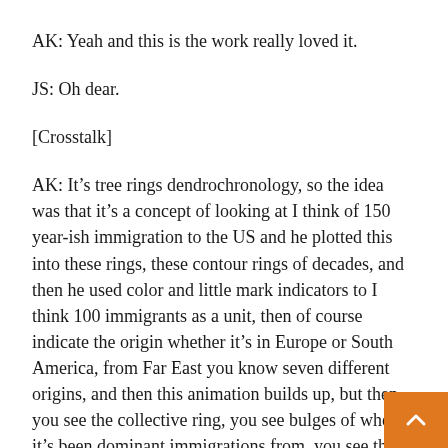AK: Yeah and this is the work really loved it.
JS: Oh dear.
[Crosstalk]
AK: It’s tree rings dendrochronology, so the idea was that it’s a concept of looking at I think of 150 year-ish immigration to the US and he plotted this into these rings, these contour rings of decades, and then he used color and little mark indicators to I think 100 immigrants as a unit, then of course indicate the origin whether it’s in Europe or South America, from Far East you know seven different origins, and then this animation builds up, but then you see the collective ring, you see bulges of where it’s been dominant immigrations from, you see the context of Americans who have home born but can’t remember the phrase he actually used but it’ll just give you some context.